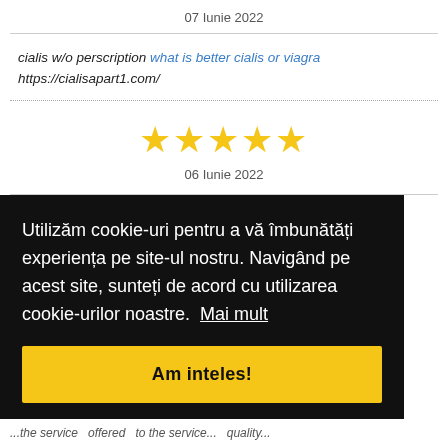07 Iunie 2022
cialis w/o perscription what is better cialis or viagra https://cialisapart1.com/
[Figure (other): Five gold star rating icons centered on the page]
06 Iunie 2022
Utilizăm cookie-uri pentru a vă îmbunătăți experiența pe site-ul nostru. Navigând pe acest site, sunteți de acord cu utilizarea cookie-urilor noastre. Mai mult
Am inteles!
...the service offered to the service...quality...